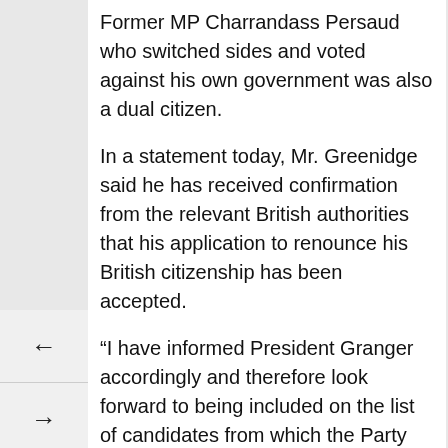Former MP Charrandass Persaud who switched sides and voted against his own government was also a dual citizen.
In a statement today, Mr. Greenidge said he has received confirmation from the relevant British authorities that his application to renounce his British citizenship has been accepted.
“I have informed President Granger accordingly and therefore look forward to being included on the list of candidates from which the Party will make its selection of MPs following the holding of the Regional and General Elections in 2020.”
Greenidge said his UK citizenship and residence enabled him to take advantage of wide-ranging educational opportunities, “which I would not have been in a position to access or finance had I remained in...